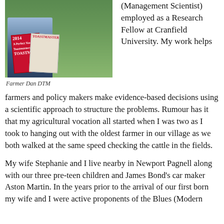[Figure (photo): Person standing in a field holding Toastmaster magazines, 2014 edition visible]
Farmer Dan DTM
(Management Scientist) employed as a Research Fellow at Cranfield University. My work helps farmers and policy makers make evidence-based decisions using a scientific approach to structure the problems. Rumour has it that my agricultural vocation all started when I was two as I took to hanging out with the oldest farmer in our village as we both walked at the same speed checking the cattle in the fields.
My wife Stephanie and I live nearby in Newport Pagnell along with our three pre-teen children and James Bond's car maker Aston Martin. In the years prior to the arrival of our first born my wife and I were active proponents of the Blues (Modern